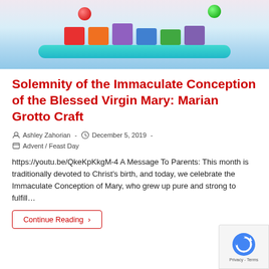[Figure (photo): Colorful craft project photo showing a Marian grotto craft with colored blocks, gems, and a teal popsicle stick bar at the bottom]
Solemnity of the Immaculate Conception of the Blessed Virgin Mary: Marian Grotto Craft
Ashley Zahorian  -  December 5, 2019  -  Advent / Feast Day
https://youtu.be/QkeKpKkgM-4 A Message To Parents: This month is traditionally devoted to Christ's birth, and today, we celebrate the Immaculate Conception of Mary, who grew up pure and strong to fulfill…
Continue Reading ›